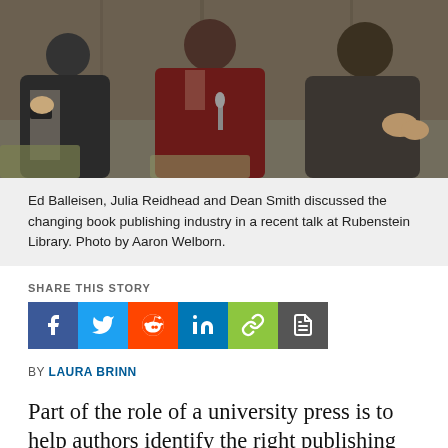[Figure (photo): Three people seated in chairs at a panel discussion, one wearing a dark burgundy/maroon sweater in the center, others in suits, appears to be in a library or meeting room setting]
Ed Balleisen, Julia Reidhead and Dean Smith discussed the changing book publishing industry in a recent talk at Rubenstein Library. Photo by Aaron Welborn.
SHARE THIS STORY
BY LAURA BRINN
Part of the role of a university press is to help authors identify the right publishing home for